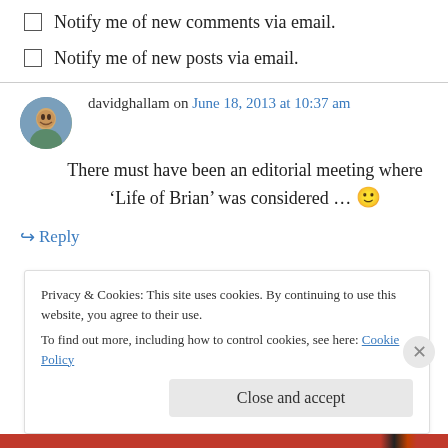Notify me of new comments via email.
Notify me of new posts via email.
davidghallam on June 18, 2013 at 10:37 am
There must have been an editorial meeting where ‘Life of Brian’ was considered … 🙂
↪ Reply
Privacy & Cookies: This site uses cookies. By continuing to use this website, you agree to their use.
To find out more, including how to control cookies, see here: Cookie Policy
Close and accept